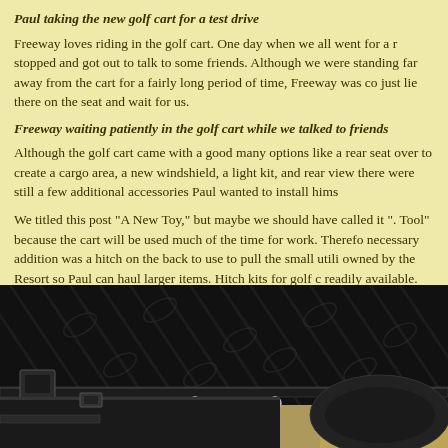Paul taking the new golf cart for a test drive
Freeway loves riding in the golf cart. One day when we all went for a ride, we stopped and got out to talk to some friends. Although we were standing some distance far away from the cart for a fairly long period of time, Freeway was content to just lie there on the seat and wait for us.
Freeway waiting patiently in the golf cart while we talked to friends
Although the golf cart came with a good many options like a rear seat that folds over to create a cargo area, a new windshield, a light kit, and rear view mirrors, there were still a few additional accessories Paul wanted to install himself.
We titled this post "A New Toy," but maybe we should have called it "A New Tool" because the cart will be used much of the time for work. Therefore, a necessary addition was a hitch on the back to use to pull the small utility trailer owned by the Resort so Paul can haul larger items. Hitch kits for golf carts are readily available. They bolt right up to holes provided for that purpose under the rear seat foot rest.
[Figure (photo): Close-up photo of the underside/rear of the golf cart showing a black hitch assembly bolted to the frame, with a tire and sandy ground visible.]